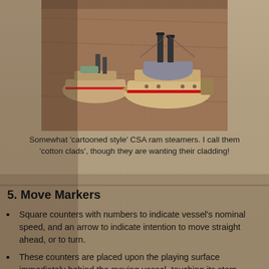[Figure (photo): Photo of two 'cartooned style' CSA ram steamer miniatures on a wooden surface]
Somewhat 'cartooned style' CSA ram steamers.  I call them 'cotton clads', though they are wanting their cladding!
5. Move Markers
Square counters with numbers to indicate vessel's nominal speed, and an arrow to indicate intention to move straight ahead, or to turn.
These counters are placed upon the playing surface immediately behind the moving vessel, touching its stern.  When moving the vessel, leave the counter in place for the purposes of measurement, until the half-move is complete, and then bring it up to the vessel.  Note that the